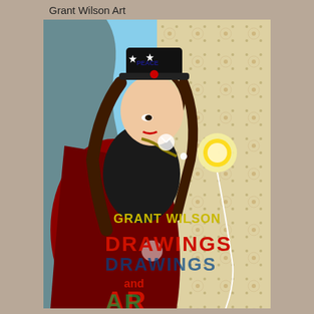Grant Wilson Art
[Figure (illustration): Book cover or artwork for 'Grant Wilson Drawings and Art' featuring a stylized comic-book woman in a black outfit and red cape, wearing a star-studded peace hat, holding a glowing orb connected to a wire, with a floral wallpaper background on the right half. Text on the image reads: GRANT WILSON, DRAWINGS, and AND, with partially visible bottom text starting with AR.]